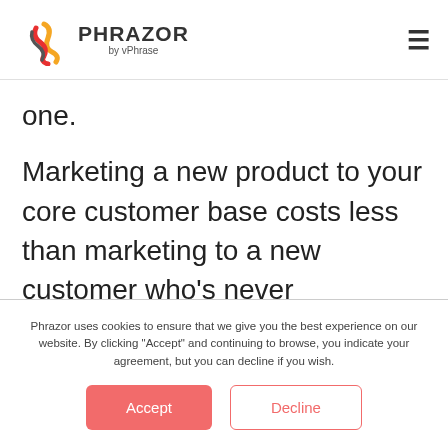[Figure (logo): Phrazor by vPhrase logo with stylized icon and hamburger menu icon on the right]
one.
Marketing a new product to your core customer base costs less than marketing to a new customer who's never purchased from you before. Thus investing time in a retention strategy guided by data-driven insights can not
Phrazor uses cookies to ensure that we give you the best experience on our website. By clicking "Accept" and continuing to browse, you indicate your agreement, but you can decline if you wish.